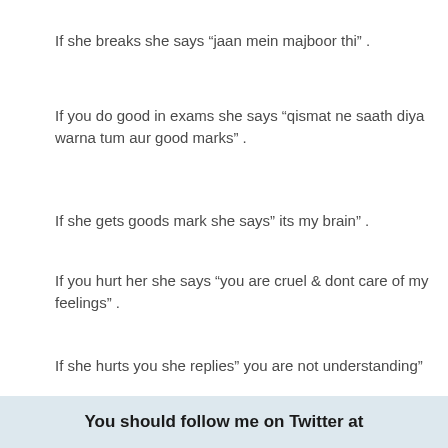If she breaks she says “jaan mein majboor thi” .
If you do good in exams she says “qismat ne saath diya warna tum aur good marks” .
If she gets goods mark she says” its my brain” .
If you hurt her she says “you are cruel & dont care of my feelings” .
If she hurts you she replies” you are not understanding”
....
& they claim they are not Hypocrates.
You should follow me on Twitter at